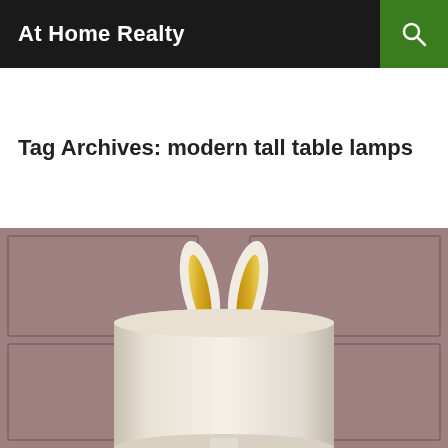At Home Realty
Tag Archives: modern tall table lamps
[Figure (photo): A decorative table lamp with a cylindrical white shade and rabbit ears (white ceramic with gold interior) emerging from the top, set against a muted mauve/taupe paneled wall background.]